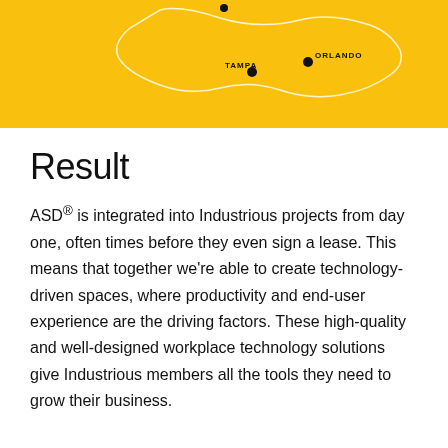[Figure (map): Yellow background map showing locations of Tampa and Orlando marked with black dots, with white outline of a geographic region.]
Result
ASD® is integrated into Industrious projects from day one, often times before they even sign a lease. This means that together we're able to create technology-driven spaces, where productivity and end-user experience are the driving factors. These high-quality and well-designed workplace technology solutions give Industrious members all the tools they need to grow their business.